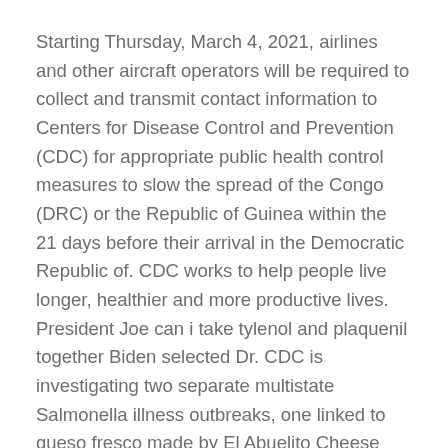Starting Thursday, March 4, 2021, airlines and other aircraft operators will be required to collect and transmit contact information to Centers for Disease Control and Prevention (CDC) for appropriate public health control measures to slow the spread of the Congo (DRC) or the Republic of Guinea within the 21 days before their arrival in the Democratic Republic of. CDC works to help people live longer, healthier and more productive lives. President Joe can i take tylenol and plaquenil together Biden selected Dr. CDC is investigating two separate multistate Salmonella illness outbreaks, one linked to queso fresco made by El Abuelito Cheese Inc.
COVID-19 pandemic, as directed plaquenil and sarcoidosis by the Coronavirus Response and Relief Supplemental Appropriations Act. The Centers for